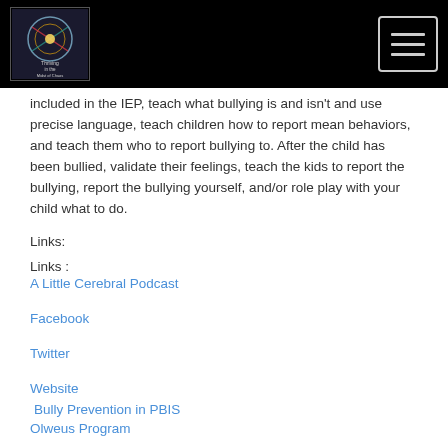[Navigation bar with logo and hamburger menu]
included in the IEP, teach what bullying is and isn't and use precise language, teach children how to report mean behaviors, and teach them who to report bullying to. After the child has been bullied, validate their feelings, teach the kids to report the bullying, report the bullying yourself, and/or role play with your child what to do.
Links:
Links :
A Little Cerebral Podcast
Facebook
Twitter
Website
Bully Prevention in PBIS
Olweus Program